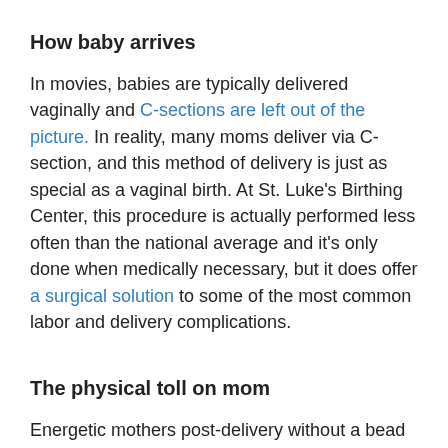How baby arrives
In movies, babies are typically delivered vaginally and C-sections are left out of the picture. In reality, many moms deliver via C-section, and this method of delivery is just as special as a vaginal birth. At St. Luke's Birthing Center, this procedure is actually performed less often than the national average and it's only done when medically necessary, but it does offer a surgical solution to some of the most common labor and delivery complications.
The physical toll on mom
Energetic mothers post-delivery without a bead of sweat on their foreheads? That's not very realistic. While every woman's pain tolerance is different, you can expect giving birth to be physically difficult and pretty exhausting.